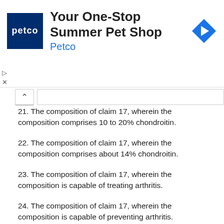[Figure (other): Petco advertisement banner: 'Your One-Stop Summer Pet Shop' with Petco logo and navigation arrow icon]
21. The composition of claim 17, wherein the composition comprises 10 to 20% chondroitin.
22. The composition of claim 17, wherein the composition comprises about 14% chondroitin.
23. The composition of claim 17, wherein the composition is capable of treating arthritis.
24. The composition of claim 17, wherein the composition is capable of preventing arthritis.
25. The composition of claim 23, wherein the arthritis comprises rheumatoid arthritis and osteoarthritis.
26. A method of treating a subject comprising administering an effective amount of the composition of claim 1.